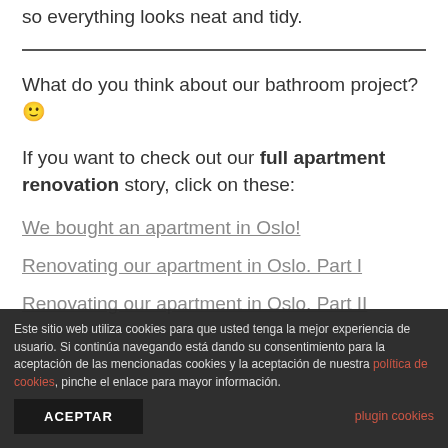so everything looks neat and tidy.
What do you think about our bathroom project? 🙂
If you want to check out our full apartment renovation story, click on these:
We bought an apartment in Oslo!
Renovating our apartment in Oslo. Part I
Renovating our apartment in Oslo. Part II
Este sitio web utiliza cookies para que usted tenga la mejor experiencia de usuario. Si continúa navegando está dando su consentimiento para la aceptación de las mencionadas cookies y la aceptación de nuestra política de cookies, pinche el enlace para mayor información.
ACEPTAR
plugin cookies